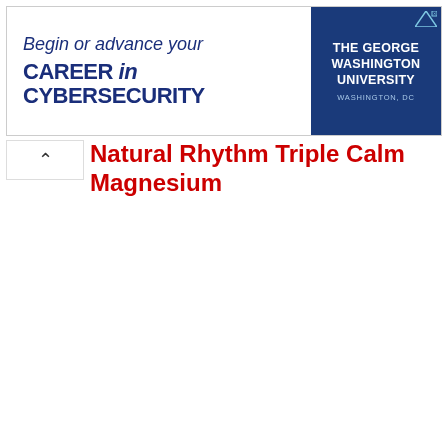[Figure (infographic): Advertisement banner for The George Washington University: 'Begin or advance your CAREER in CYBERSECURITY' with GWU logo on right side in dark blue background]
Natural Rhythm Triple Calm Magnesium